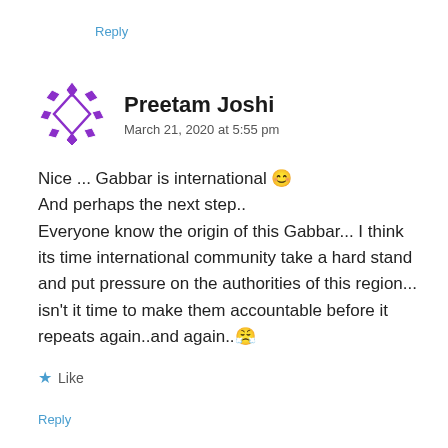Reply
[Figure (illustration): Purple geometric diamond/hexagon avatar icon for user Preetam Joshi]
Preetam Joshi
March 21, 2020 at 5:55 pm
Nice ... Gabbar is international 😊 And perhaps the next step.. Everyone know the origin of this Gabbar... I think its time international community take a hard stand and put pressure on the authorities of this region... isn't it time to make them accountable before it repeats again..and again..😤
★ Like
Reply